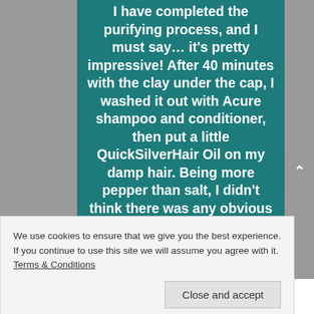I have completed the purifying process, and I must say… it's pretty impressive! After 40 minutes with the clay under the cap, I washed it out with Acure shampoo and conditioner, then put a little QuickSilverHair Oil on my damp hair. Being more pepper than salt, I didn't think there was any obvious yellowing going on with me, but these pictures say otherwise. I took
We use cookies to ensure that we give you the best experience. If you continue to use this site we will assume you agree with it. Terms & Conditions
Close and accept
[Figure (photo): Bottom strip showing hair photos, partially visible at the bottom of the page]